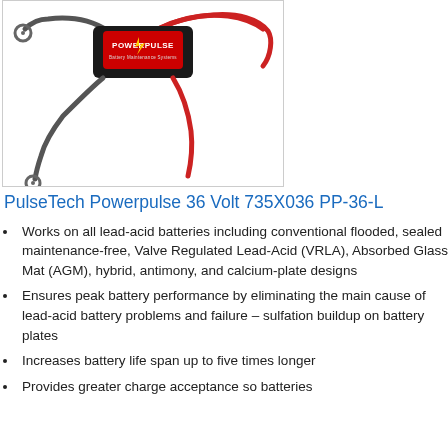[Figure (photo): Photo of PulseTech Powerpulse 36 Volt battery maintenance device (black rectangular unit with red and black wires and ring terminals) on white background]
PulseTech Powerpulse 36 Volt 735X036 PP-36-L
Works on all lead-acid batteries including conventional flooded, sealed maintenance-free, Valve Regulated Lead-Acid (VRLA), Absorbed Glass Mat (AGM), hybrid, antimony, and calcium-plate designs
Ensures peak battery performance by eliminating the main cause of lead-acid battery problems and failure – sulfation buildup on battery plates
Increases battery life span up to five times longer
Provides greater charge acceptance so batteries